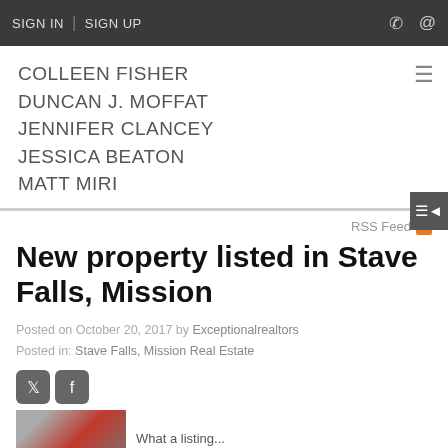SIGN IN | SIGN UP
COLLEEN FISHER
DUNCAN J. MOFFAT
JENNIFER CLANCEY
JESSICA BEATON
MATT MIRI
RSS Feed
New property listed in Stave Falls, Mission
Posted on October 20, 2017 by Exceptionalrealtors
Posted in: Stave Falls, Mission Real Estate